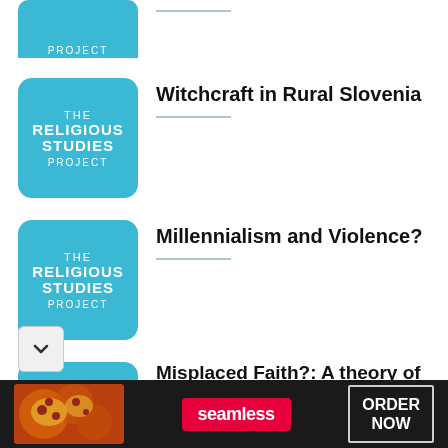[Figure (logo): The Religious Studies Project logo (partial, top) with blue rounded rectangle and PROJECT text]
Witchcraft in Rural Slovenia
[Figure (logo): The Religious Studies Project logo, blue rounded rectangle with THE / RELIGIOUS / STUDIES / PROJECT text in white]
Millennialism and Violence?
[Figure (logo): The Religious Studies Project logo (partial bottom), blue rounded rectangle with THE text visible]
Misplaced Faith?: A theory of supernatural belief as
[Figure (infographic): Seamless food delivery advertisement banner: pizza image, red Seamless label, ORDER NOW button on dark background]